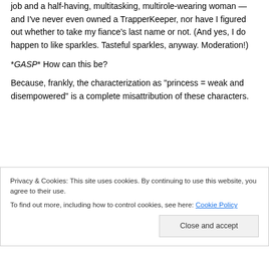job and a half-having, multitasking, multirole-wearing woman — and I've never even owned a TrapperKeeper, nor have I figured out whether to take my fiance's last name or not. (And yes, I do happen to like sparkles. Tasteful sparkles, anyway. Moderation!)
*GASP* How can this be?
Because, frankly, the characterization as “princess = weak and disempowered” is a complete misattribution of these characters.
A quick sample:
Privacy & Cookies: This site uses cookies. By continuing to use this website, you agree to their use.
To find out more, including how to control cookies, see here: Cookie Policy
Close and accept